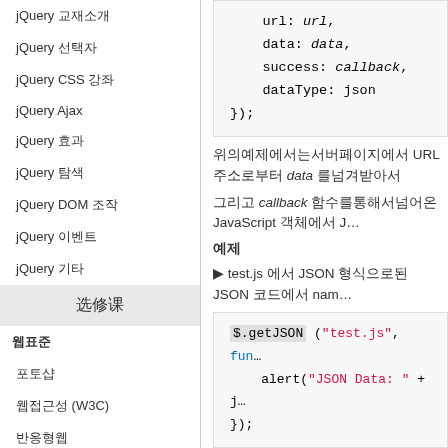jQuery 교재소개
jQuery 선택자
jQuery CSS 강좌
jQuery Ajax
jQuery 효과
jQuery 탐색
jQuery DOM 조작
jQuery 이벤트
jQuery 기타
选修课
웹표준
포토샵
웹접근성 (W3C)
반응형웹
모바일웹
SEO
앱제작
위의예제에서는서버페이지에서 URL 주소로부터 data 를넘겨받아서
그리고 callback 함수를통해서넘어온 JavaScript 객체에서 J…
예제
▶ test.js 에서 JSON 형식으로된 JSON 코드에서 nam…
[Figure (screenshot): Code block showing $.getJSON call with alert displaying JSON Data]
———